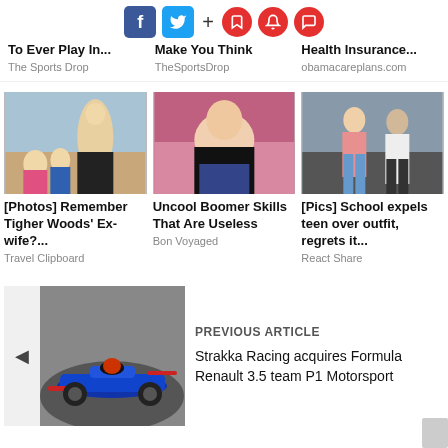[Figure (screenshot): Social media sharing bar with Facebook, Twitter, plus sign, and three red icon buttons (bookmark, bell, chat)]
To Ever Play In...
The Sports Drop
Make You Think
TheSportsDrop
Health Insurance...
obamacareplans.com
[Figure (photo): Women on a beach in swimwear]
[Photos] Remember Tigher Woods' Ex-wife?...
Travel Clipboard
[Figure (photo): Young woman lying on a pink couch in a black shirt]
Uncool Boomer Skills That Are Useless
Bon Voyaged
[Figure (photo): Teenage girl and man standing indoors]
[Pics] School expels teen over outfit, regrets it...
React Share
[Figure (photo): Blue Formula 1 racing car on a track]
PREVIOUS ARTICLE
Strakka Racing acquires Formula Renault 3.5 team P1 Motorsport